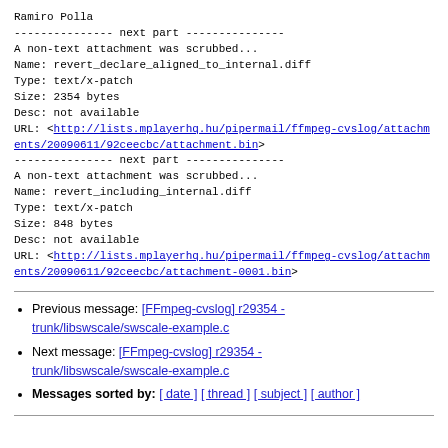Ramiro Polla
--------------- next part ---------------
A non-text attachment was scrubbed...
Name: revert_declare_aligned_to_internal.diff
Type: text/x-patch
Size: 2354 bytes
Desc: not available
URL: <http://lists.mplayerhq.hu/pipermail/ffmpeg-cvslog/attachments/20090611/92ceecbc/attachment.bin>
--------------- next part ---------------
A non-text attachment was scrubbed...
Name: revert_including_internal.diff
Type: text/x-patch
Size: 848 bytes
Desc: not available
URL: <http://lists.mplayerhq.hu/pipermail/ffmpeg-cvslog/attachments/20090611/92ceecbc/attachment-0001.bin>
Previous message: [FFmpeg-cvslog] r29354 - trunk/libswscale/swscale-example.c
Next message: [FFmpeg-cvslog] r29354 - trunk/libswscale/swscale-example.c
Messages sorted by: [ date ] [ thread ] [ subject ] [ author ]